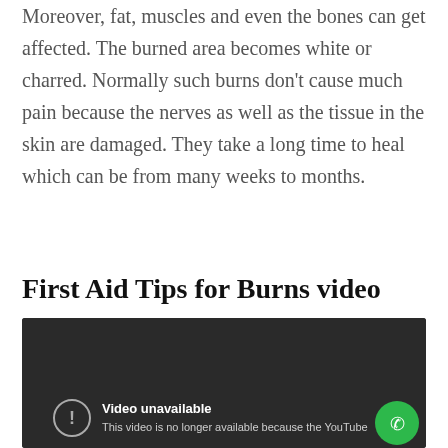Moreover, fat, muscles and even the bones can get affected. The burned area becomes white or charred. Normally such burns don't cause much pain because the nerves as well as the tissue in the skin are damaged. They take a long time to heal which can be from many weeks to months.
First Aid Tips for Burns video
[Figure (screenshot): Embedded YouTube video player showing 'Video unavailable' message on a dark background. A green phone/call button is visible in the bottom right corner. An info icon with exclamation mark is on the left side. Text reads: 'Video unavailable' and 'This video is no longer available because the YouTube']